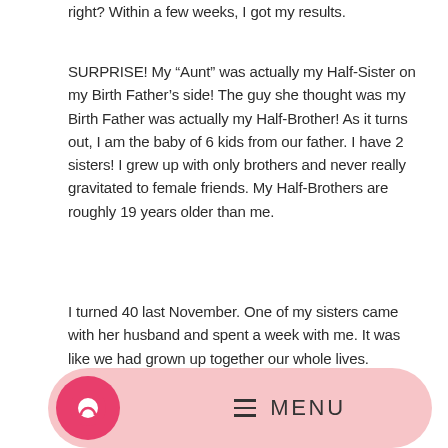right?  Within a few weeks, I got my results.
SURPRISE!  My “Aunt” was actually my Half-Sister on my Birth Father’s side!  The guy she thought was my Birth Father was actually my Half-Brother!  As it turns out, I am the baby of 6 kids from our father.  I have 2 sisters!  I grew up with only brothers and never really gravitated to female friends.  My Half-Brothers are roughly 19 years older than me.
I turned 40 last November.  One of my sisters came with her husband and spent a week with me.  It was like we had grown up together our whole lives.
[Figure (other): Mobile app navigation bar with pink rounded background, a circular pink chat/comment icon on the left, and MENU text with hamburger icon lines in the center.]